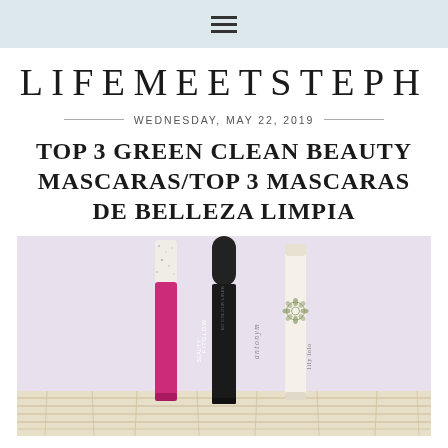≡ (hamburger menu icon)
LIFEMEETSTEPH
WEDNESDAY, MAY 22, 2019
TOP 3 GREEN CLEAN BEAUTY MASCARAS/TOP 3 MASCARAS DE BELLEZA LIMPIA
[Figure (photo): Three mascara tubes standing upright on a light purple/lavender surface against a white background. Left: pink/magenta tube labeled FITGLOW BEAUTY with a speckled white cap. Center: tall black tube labeled Antonym. Right: cream/ivory tube with a floral logo labeled lily lolo.]